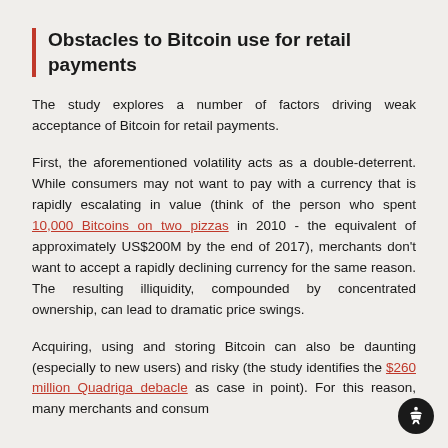Obstacles to Bitcoin use for retail payments
The study explores a number of factors driving weak acceptance of Bitcoin for retail payments.
First, the aforementioned volatility acts as a double-deterrent. While consumers may not want to pay with a currency that is rapidly escalating in value (think of the person who spent 10,000 Bitcoins on two pizzas in 2010 - the equivalent of approximately US$200M by the end of 2017), merchants don’t want to accept a rapidly declining currency for the same reason. The resulting illiquidity, compounded by concentrated ownership, can lead to dramatic price swings.
Acquiring, using and storing Bitcoin can also be daunting (especially to new users) and risky (the study identifies the $260 million Quadriga debacle as case in point). For this reason, many merchants and consumers...